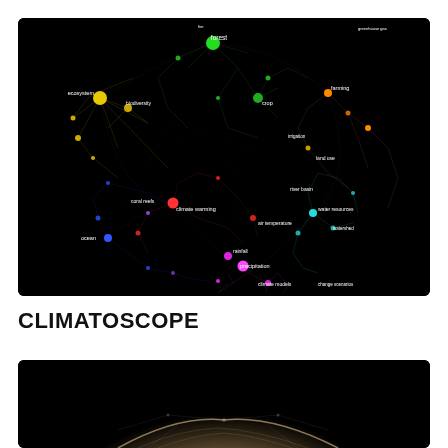[Figure (network-graph): A colorful network graph on black background showing interconnected climate-related topics as colored clusters. Visible node labels include: forest (green, top center), ecosystem (yellow, left), biodiversity (yellow), crop (green-yellow, center), farming (orange, right), land use (orange-tan, right), irrigation (orange), coral reefs (red-blue, left-center), climate warming (red, center-left), ocean (blue, left), air temperature (red, center), river basin (cyan, center-right), water resources (cyan, right), watershed (cyan), rainfall (magenta, lower-center), precipitation (magenta, lower-center), climate models (magenta, lower), change scenarios (magenta, lower-right). Clusters are colored: yellow (ecosystem), green (forest), orange (farming/land use), red (climate warming), blue (ocean), cyan (water resources), magenta (precipitation/climate models), purple (lower left).]
CLIMATOSCOPE
[Figure (photo): A partial photo on black background showing what appears to be a sandy or dusty mountainous or geological structure, illuminated from above, on a black background. Only the top portion is visible as the image is cropped.]